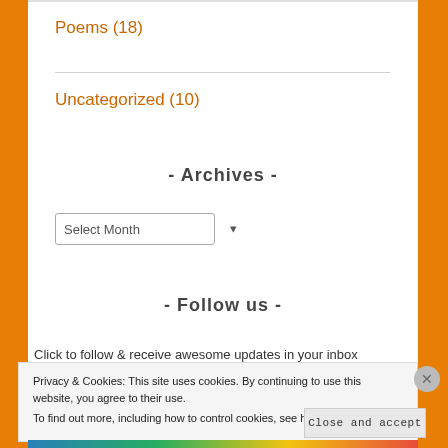Poems (18)
Uncategorized (10)
- Archives -
Select Month
- Follow us -
Click to follow & receive awesome updates in your inbox
Privacy & Cookies: This site uses cookies. By continuing to use this website, you agree to their use. To find out more, including how to control cookies, see here: Cookie Policy
Close and accept